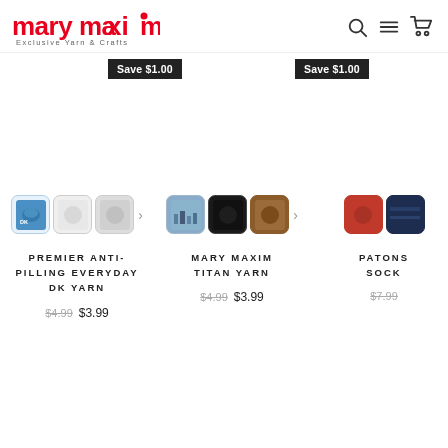[Figure (logo): Mary Maxim logo - red text with 'Exclusive Yarn & Crafts' tagline]
Save $1.00
Save $1.00
[Figure (illustration): Color swatches for Premier Anti-Pilling Everyday DK Yarn: blue, white, light grey, with more arrow]
PREMIER ANTI-PILLING EVERYDAY DK YARN
$4.99  $3.99
[Figure (illustration): Color swatches for Mary Maxim Titan Yarn: city/blue, black, brown, with more arrow]
MARY MAXIM TITAN YARN
$4.99  $3.99
[Figure (illustration): Color swatches for Patons Sock: red, navy blue stripe]
PATONS SOCK
$7.99